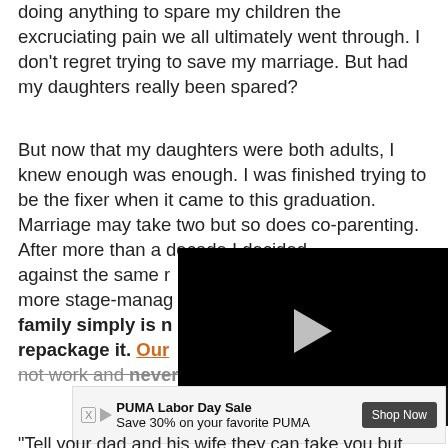doing anything to spare my children the excruciating pain we all ultimately went through. I don't regret trying to save my marriage. But had my daughters really been spared?
But now that my daughters were both adults, I knew enough was enough. I was finished trying to be the fixer when it came to this graduation. Marriage may take two but so does co-parenting. After more than a decade I decided [video overlay] against the same r... more stage-manag... family simply is n... [bold] repackage it. Our [link] not work and never did. Buy Sale
[Figure (screenshot): Embedded video player with black background, play button, progress bar showing 02:43, and video controls including mute, grid, settings, and fullscreen icons.]
[Figure (screenshot): PUMA Labor Day Sale advertisement banner: 'Save 30% on your favorite PUMA' with X close button, play icon, and 'Shop Now' button.]
"Tell your dad and his wife they can take you but